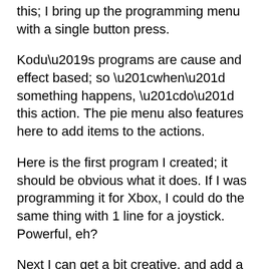this; I bring up the programming menu with a single button press.
Kodu’s programs are cause and effect based; so “when” something happens, “do” this action. The pie menu also features here to add items to the actions.
Here is the first program I created; it should be obvious what it does. If I was programming it for Xbox, I could do the same thing with 1 line for a joystick. Powerful, eh?
Next I can get a bit creative, and add a weapon to it fairly easily.
I love how easy it is to create really rather fun games with this. I know I enjoyed standing playing it while it was quiet on the Microsoft stand the other day.